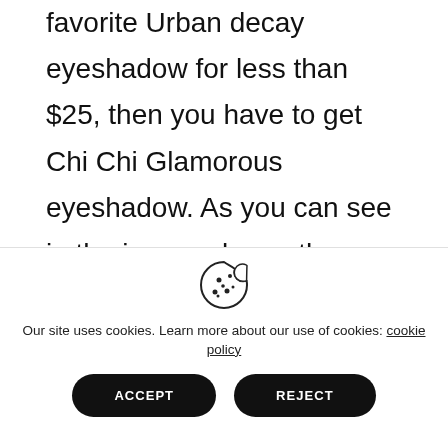favorite Urban decay eyeshadow for less than $25, then you have to get Chi Chi Glamorous eyeshadow. As you can see in the image above, they are similar in A LOT of shades, particularly Suspect, which has a tinge of beige. They even have the same design for the eye brush, although I have to say UD always knows how to make their palette pan and brushes look really
[Figure (illustration): Cookie icon (a cookie with bite taken out and chocolate chip dots)]
Our site uses cookies. Learn more about our use of cookies: cookie policy
ACCEPT
REJECT